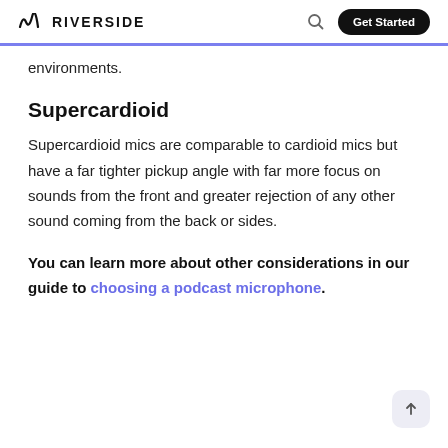RIVERSIDE
environments.
Supercardioid
Supercardioid mics are comparable to cardioid mics but have a far tighter pickup angle with far more focus on sounds from the front and greater rejection of any other sound coming from the back or sides.
You can learn more about other considerations in our guide to choosing a podcast microphone.